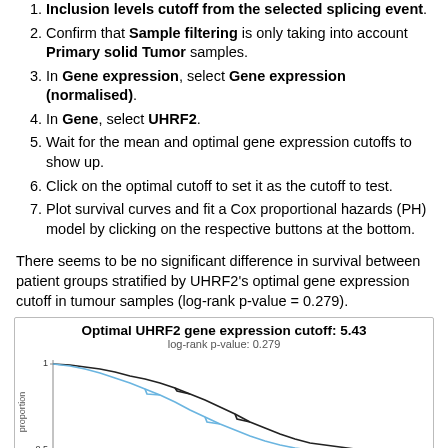Inclusion levels cutoff from the selected splicing event.
Confirm that Sample filtering is only taking into account Primary solid Tumor samples.
In Gene expression, select Gene expression (normalised).
In Gene, select UHRF2.
Wait for the mean and optimal gene expression cutoffs to show up.
Click on the optimal cutoff to set it as the cutoff to test.
Plot survival curves and fit a Cox proportional hazards (PH) model by clicking on the respective buttons at the bottom.
There seems to be no significant difference in survival between patient groups stratified by UHRF2's optimal gene expression cutoff in tumour samples (log-rank p-value = 0.279).
[Figure (line-chart): Survival curve plot showing two lines (black and blue/light blue) representing patient groups stratified by UHRF2 optimal gene expression cutoff. log-rank p-value: 0.279. Y-axis: proportion (0.5 to 1). X-axis partially visible.]